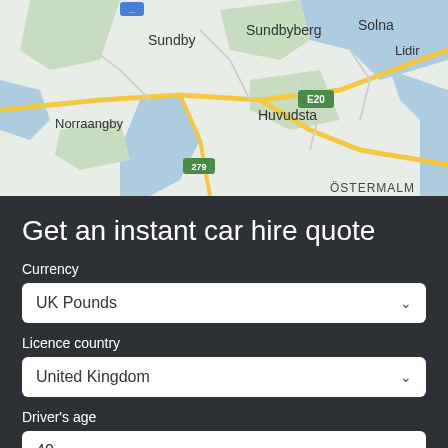[Figure (map): Google Maps view showing Stockholm area with locations Sundby, Sundbyberg, Solna, Lidingö, Norraangby, Huvudsta, Östermalm, route E20, road 279]
Get an instant car hire quote
Currency
UK Pounds
Licence country
United Kingdom
Driver's age
40